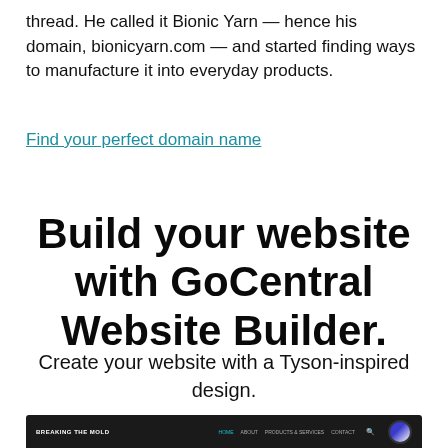thread. He called it Bionic Yarn — hence his domain, bionicyarn.com — and started finding ways to manufacture it into everyday products.
Find your perfect domain name
Build your website with GoCentral Website Builder.
Create your website with a Tyson-inspired design.
[Figure (screenshot): Screenshot of a website with dark navigation bar showing 'BREAKING THE MOLD' brand name, navigation links HOME, ABOUT, PRODUCTS & SERVICES, CONTACT, a search icon, and a blue/white circular badge on the right.]